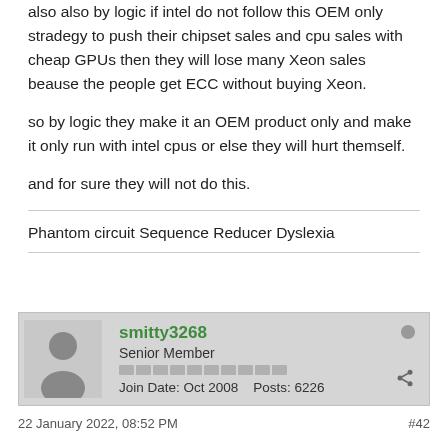also also by logic if intel do not follow this OEM only stradegy to push their chipset sales and cpu sales with cheap GPUs then they will lose many Xeon sales beause the people get ECC without buying Xeon.
so by logic they make it an OEM product only and make it only run with intel cpus or else they will hurt themself.
and for sure they will not do this.
Phantom circuit Sequence Reducer Dyslexia
smitty3268
Senior Member
Join Date: Oct 2008    Posts: 6226
22 January 2022, 08:52 PM
#42